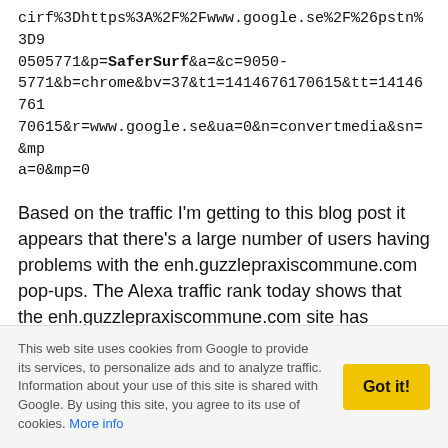cirf%3Dhttps%3A%2F%2Fwww.google.se%2F%26pstn%3D90505771&p=SaferSurf&a=&c=9050-5771&b=chrome&bv=37&t1=1414676170615&tt=1414676170615&r=www.google.se&ua=0&n=convertmedia&sn=&mpa=0&mp=0
Based on the traffic I'm getting to this blog post it appears that there's a large number of users having problems with the enh.guzzlepraxiscommune.com pop-ups. The Alexa traffic rank today shows that the enh.guzzlepraxiscommune.com site has reached a global rank of 26153 in just a few days.
How popular is guzzlepraxiscommune.com?
This web site uses cookies from Google to provide its services, to personalize ads and to analyze traffic. Information about your use of this site is shared with Google. By using this site, you agree to its use of cookies. More info